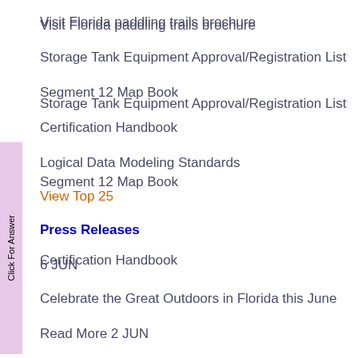Visit Florida paddling trails brochure
Storage Tank Equipment Approval/Registration List
Segment 12 Map Book
Certification Handbook
Logical Data Modeling Standards
View Top 25
Press Releases
6 JUN
Celebrate the Great Outdoors in Florida this June
Read More 2 JUN